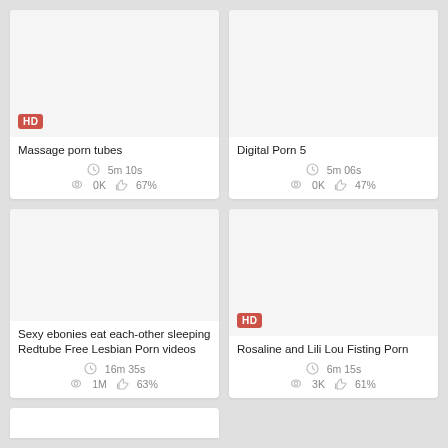[Figure (screenshot): Video thumbnail card: Massage porn tubes, HD badge, 5m 10s, 0K views, 67% likes]
[Figure (screenshot): Video thumbnail card: Digital Porn 5, 5m 06s, 0K views, 47% likes]
[Figure (screenshot): Video thumbnail card: Sexy ebonies eat each-other sleeping Redtube Free Lesbian Porn videos, 16m 35s, 1M views, 63% likes]
[Figure (screenshot): Video thumbnail card: Rosaline and Lili Lou Fisting Porn, HD badge, 6m 15s, 3K views, 61% likes]
[Figure (screenshot): Partial video thumbnail card at bottom left, cut off]